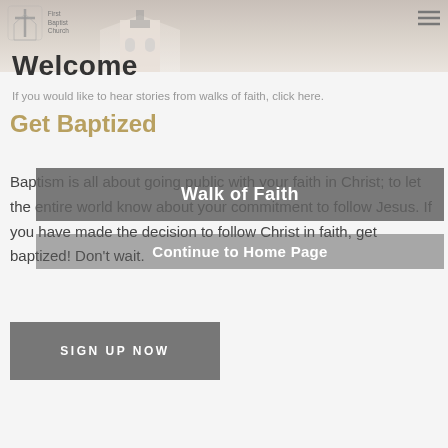[Figure (photo): Top banner with light background photo of a church exterior]
First Baptist Church
Welcome
If you would like to hear stories from walks of faith, click here.
Get Baptized
Walk of Faith
Continue to Home Page
Baptism is all about going public with your faith in Christ; to let the entire world know about your commitment to follow Jesus. If you have made the decision to follow Christ in faith, get baptized! Don't wait.
SIGN UP NOW